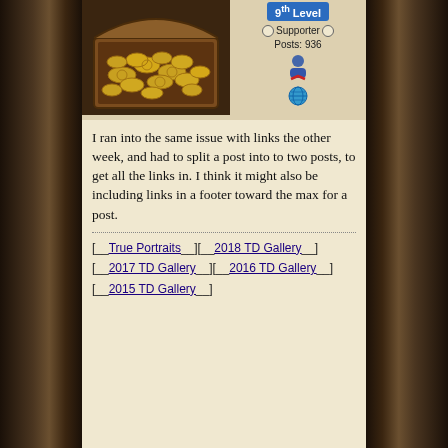[Figure (photo): A wooden treasure chest filled with gold coins, viewed from above at an angle.]
9th Level Supporter Posts: 936
I ran into the same issue with links the other week, and had to split a post into to two posts, to get all the links in. I think it might also be including links in a footer toward the max for a post.
[ True Portraits ] [ 2018 TD Gallery ] [ 2017 TD Gallery ] [ 2016 TD Gallery ] [ 2015 TD Gallery ]